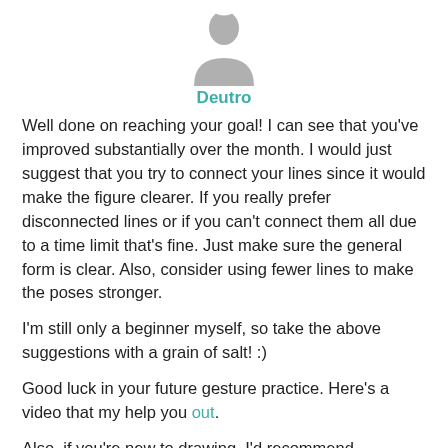[Figure (illustration): Generic user avatar silhouette in gray]
Deutro
Well done on reaching your goal! I can see that you've improved substantially over the month. I would just suggest that you try to connect your lines since it would make the figure clearer. If you really prefer disconnected lines or if you can't connect them all due to a time limit that's fine. Just make sure the general form is clear. Also, consider using fewer lines to make the poses stronger.

I'm still only a beginner myself, so take the above suggestions with a grain of salt! :)

Good luck in your future gesture practice. Here's a video that my help you out.

Also, if you're new to drawing, I'd recommend Drawabox. It's a free online course designed to teach art